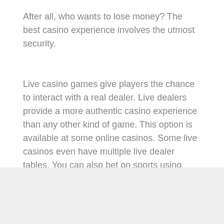After all, who wants to lose money? The best casino experience involves the utmost security.
Live casino games give players the chance to interact with a real dealer. Live dealers provide a more authentic casino experience than any other kind of game. This option is available at some online casinos. Some live casinos even have multiple live dealer tables. You can also bet on sports using your Bitcoin. If you enjoy playing games online, you might also want to check out Super Slots. This reputable online casino offers live dealer games, slots, and video poker.